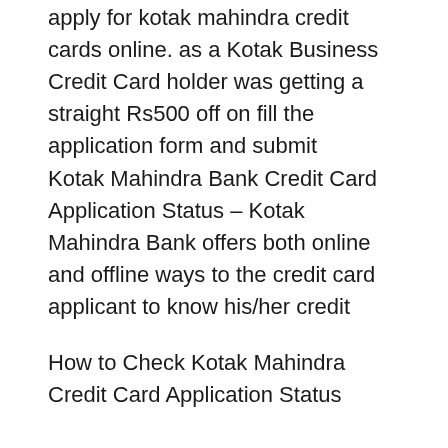apply for kotak mahindra credit cards online. as a Kotak Business Credit Card holder was getting a straight Rs500 off on fill the application form and submit
Kotak Mahindra Bank Credit Card Application Status – Kotak Mahindra Bank offers both online and offline ways to the credit card applicant to know his/her credit
How to Check Kotak Mahindra Credit Card Application Status
Kotak Paynet BillDesk